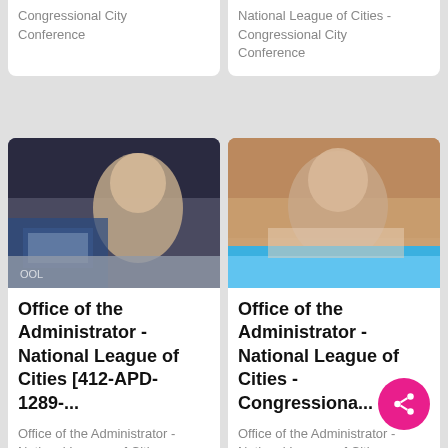Congressional City Conference
National League of Cities - Congressional City Conference
[Figure (photo): Blurred photo of a person at a news desk or conference setting with dark background]
Office of the Administrator - National League of Cities [412-APD-1289-...
Office of the Administrator - National League of Cities
[Figure (photo): Blurred photo of a person at a table with warm/wood-toned background and blue stripe at bottom]
Office of the Administrator - National League of Cities - Congressiona...
Office of the Administrator - National League of Cities - Congressional City Conference